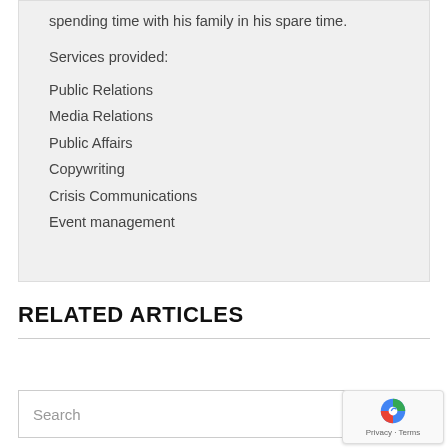spending time with his family in his spare time.
Services provided:
Public Relations
Media Relations
Public Affairs
Copywriting
Crisis Communications
Event management
RELATED ARTICLES
Search